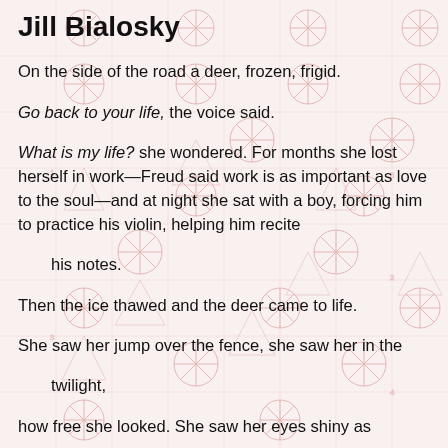Jill Bialosky
On the side of the road a deer, frozen, frigid.
Go back to your life, the voice said.
What is my life? she wondered. For months she lost herself in work—Freud said work is as important as love to the soul—and at night she sat with a boy, forcing him to practice his violin, helping him recite
   his notes.
Then the ice thawed and the deer came to life.
She saw her jump over the fence, she saw her in the
   twilight,
how free she looked. She saw her eyes shiny as
   marbles,
as much a part of this world as the fence a worker pounds into the earth. At night she still sat with the
   boy.
He's learning "Au Claire de la Lune."
Do you know it? He has established a relationship